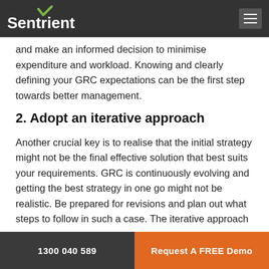Sentrient
and make an informed decision to minimise expenditure and workload. Knowing and clearly defining your GRC expectations can be the first step towards better management.
2. Adopt an iterative approach
Another crucial key is to realise that the initial strategy might not be the final effective solution that best suits your requirements. GRC is continuously evolving and getting the best strategy in one go might not be realistic. Be prepared for revisions and plan out what steps to follow in such a case. The iterative approach
1300 040 589    Request A FREE Demo